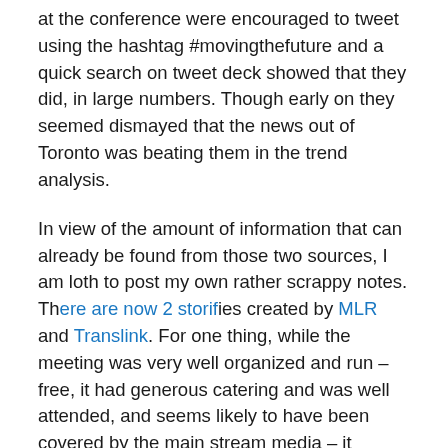at the conference were encouraged to tweet using the hashtag #movingthefuture and a quick search on tweet deck showed that they did, in large numbers. Though early on they seemed dismayed that the news out of Toronto was beating them in the trend analysis.
In view of the amount of information that can already be found from those two sources, I am loth to post my own rather scrappy notes. There are now 2 storifies created by MLR and Translink. For one thing, while the meeting was very well organized and run – free, it had generous catering and was well attended, and seems likely to have been covered by the main stream media – it lacked a fairly obvious facility. I can only assume that the conference centre wanted to be be paid far too much for access to their wifi. So what did emerge would have been from those who had smart phones and similar devices with data